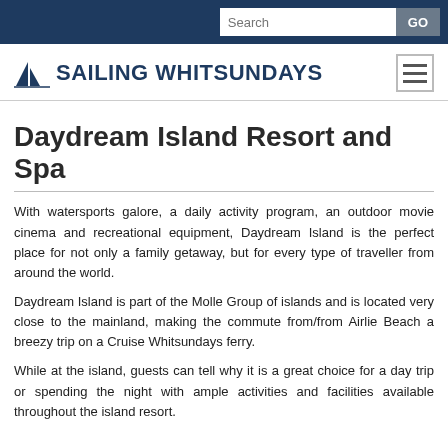Search GO
[Figure (logo): Sailing Whitsundays logo with sailboat icon and text 'SAILING WHITSUNDAYS']
Daydream Island Resort and Spa
With watersports galore, a daily activity program, an outdoor movie cinema and recreational equipment, Daydream Island is the perfect place for not only a family getaway, but for every type of traveller from around the world.
Daydream Island is part of the Molle Group of islands and is located very close to the mainland, making the commute from/from Airlie Beach a breezy trip on a Cruise Whitsundays ferry.
While at the island, guests can tell why it is a great choice for a day trip or spending the night with ample activities and facilities available throughout the island resort.